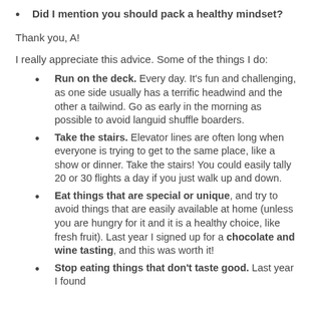Did I mention you should pack a healthy mindset?
Thank you, A!
I really appreciate this advice. Some of the things I do:
Run on the deck. Every day. It's fun and challenging, as one side usually has a terrific headwind and the other a tailwind. Go as early in the morning as possible to avoid languid shuffle boarders.
Take the stairs. Elevator lines are often long when everyone is trying to get to the same place, like a show or dinner. Take the stairs! You could easily tally 20 or 30 flights a day if you just walk up and down.
Eat things that are special or unique, and try to avoid things that are easily available at home (unless you are hungry for it and it is a healthy choice, like fresh fruit). Last year I signed up for a chocolate and wine tasting, and this was worth it!
Stop eating things that don't taste good. Last year I found